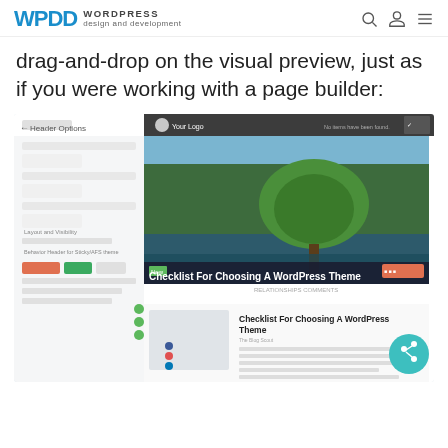WPDD WORDPRESS design and development
drag-and-drop on the visual preview, just as if you were working with a page builder:
[Figure (screenshot): A screenshot of a WordPress theme customizer interface showing a blog post titled 'Checklist For Choosing A WordPress Theme' with a forest/nature hero image, sidebar panel options, and a share button overlay.]